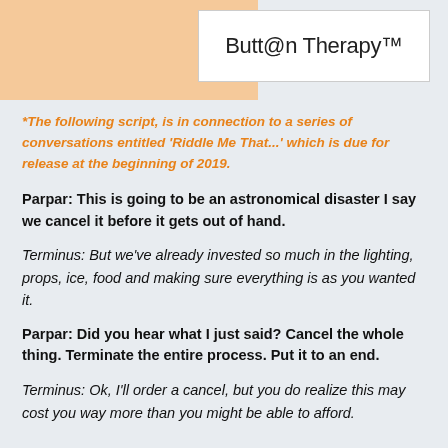[Figure (logo): Button Therapy TM logo in white box with orange decorative block to the left]
*The following script, is in connection to a series of conversations entitled 'Riddle Me That...' which is due for release at the beginning of 2019.
Parpar: This is going to be an astronomical disaster I say we cancel it before it gets out of hand.
Terminus: But we've already invested so much in the lighting, props, ice, food and making sure everything is as you wanted it.
Parpar: Did you hear what I just said? Cancel the whole thing. Terminate the entire process. Put it to an end.
Terminus: Ok, I'll order a cancel, but you do realize this may cost you way more than you might be able to afford.